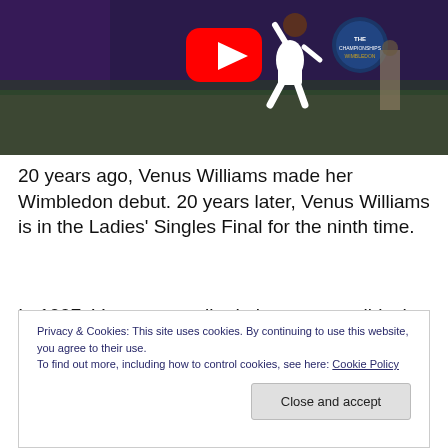[Figure (screenshot): Video thumbnail of a tennis player (Venus Williams) at Wimbledon with a YouTube play button overlay. The image shows a player in white outfit jumping to serve on a Wimbledon court, with a crowd of spectators in the background.]
20 years ago, Venus Williams made her Wimbledon debut. 20 years later, Venus Williams is in the Ladies' Singles Final for the ninth time.
In 1997, Venus was talked about as possibly the next big
Privacy & Cookies: This site uses cookies. By continuing to use this website, you agree to their use.
To find out more, including how to control cookies, see here: Cookie Policy
Close and accept